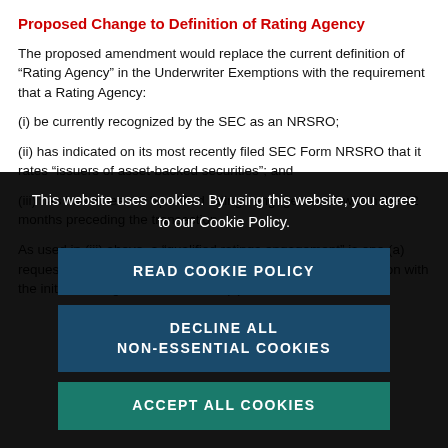Proposed Change to Definition of Rating Agency
The proposed amendment would replace the current definition of “Rating Agency” in the Underwriter Exemptions with the requirement that a Rating Agency:
(i) be currently recognized by the SEC as an NRSRO;
(ii) has indicated on its most recently filed SEC Form NRSRO that it rates “issuers of asset-backed securities”; and
(iii) has had at least 3 “qualified ratings engagements” within the 12 months preceding the transaction.
As used in (iii) above, a “qualified ratings engagement” is one (a) requested by an issuer or underwriter of securities in connection with the initial offering of the securities, (b) for which the rating...
This website uses cookies. By using this website, you agree to our Cookie Policy.
READ COOKIE POLICY
DECLINE ALL NON-ESSENTIAL COOKIES
ACCEPT ALL COOKIES